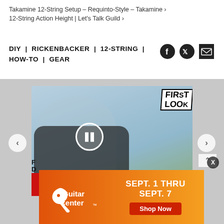Takamine 12-String Setup – Requinto-Style – Takamine › 12-String Action Height | Let's Talk Guild ›
DIY | RICKENBACKER | 12-STRING | HOW-TO | GEAR
[Figure (screenshot): Video thumbnail showing a man playing a dark electric guitar with a 'First Look' graphic overlay and red banner reading 'A LOT OF GUITA(R)'. Carousel navigation arrows on sides.]
[Figure (infographic): Guitar Center advertisement banner: orange gradient background with Guitar Center logo on left, 'SEPT. 1 THRU SEPT. 7' text in white, and a red 'Shop Now' button.]